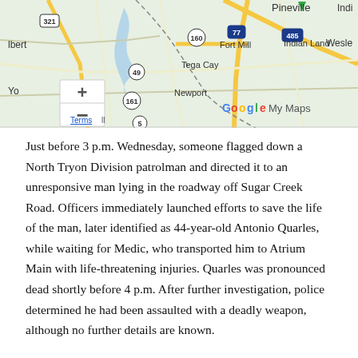[Figure (map): Google My Maps showing the Charlotte, NC area including locations such as Pineville, Indian Land, Fort Mill, Tega Cay, Newport, and highway markers for routes 321, 49, 161, 160, 77, 485, and 5. Map has zoom controls (+/-) visible on left side.]
Just before 3 p.m. Wednesday, someone flagged down a North Tryon Division patrolman and directed it to an unresponsive man lying in the roadway off Sugar Creek Road. Officers immediately launched efforts to save the life of the man, later identified as 44-year-old Antonio Quarles, while waiting for Medic, who transported him to Atrium Main with life-threatening injuries. Quarles was pronounced dead shortly before 4 p.m. After further investigation, police determined he had been assaulted with a deadly weapon, although no further details are known.
At approximately 12:47 p.m. Thursday, police responded to a shooting call on Blackhawk Road at the Townes at University